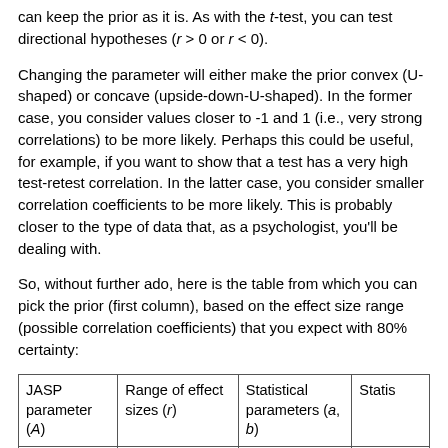can keep the prior as it is. As with the t-test, you can test directional hypotheses (r > 0 or r < 0).
Changing the parameter will either make the prior convex (U-shaped) or concave (upside-down-U-shaped). In the former case, you consider values closer to -1 and 1 (i.e., very strong correlations) to be more likely. Perhaps this could be useful, for example, if you want to show that a test has a very high test-retest correlation. In the latter case, you consider smaller correlation coefficients to be more likely. This is probably closer to the type of data that, as a psychologist, you'll be dealing with.
So, without further ado, here is the table from which you can pick the prior (first column), based on the effect size range (possible correlation coefficients) that you expect with 80% certainty:
| JASP parameter (A) | Range of effect sizes (r) | Statistical parameters (a, b) | Statis... |
| --- | --- | --- | --- |